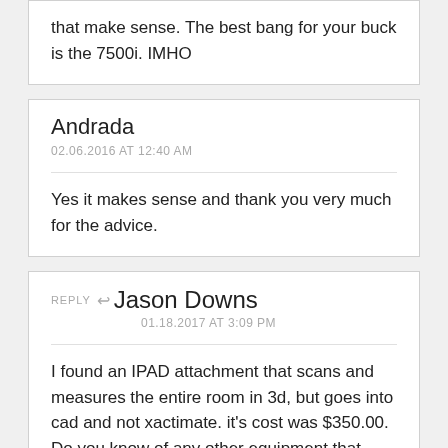that make sense. The best bang for your buck is the 7500i. IMHO
Andrada
02.06.2016 AT 12:40 AM
Yes it makes sense and thank you very much for the advice.
REPLY Jason Downs
01.18.2017 AT 3:09 PM
I found an IPAD attachment that scans and measures the entire room in 3d, but goes into cad and not xactimate. it's cost was $350.00. Do you know of any other equipment that would be able to scan and measure a room in 3d and